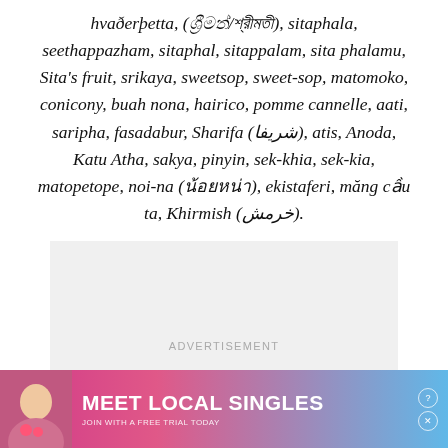hvaðerþetta, (ශ්‍රීමත්/শ্রীমতী), sitaphala, seethappazham, sitaphal, sitappalam, sita phalamu, Sita's fruit, srikaya, sweetsop, sweet-sop, matomoko, conicony, buah nona, hairico, pomme cannelle, aati, saripha, fasadabur, Sharifa (شريفا), atis, Anoda, Katu Atha, sakya, pinyin, sek-khia, sek-kia, matopetope, noi-na (น้อยหน่า), ekistaferi, măng cầu ta, Khirmish (خرمش).
[Figure (other): Advertisement placeholder box with light gray background and text 'ADVERTISEMENT' centered]
[Figure (other): Banner advertisement: 'MEET LOCAL SINGLES - JOIN WITH A FREE TRIAL TODAY' with Clover branding, pink/blue gradient background, close button]